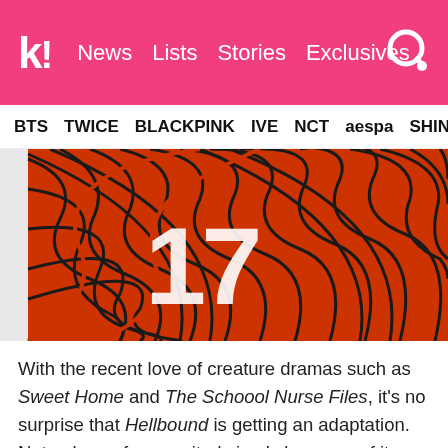k! News Lists Stories Exclusives
BTS TWICE BLACKPINK IVE NCT aespa SHIN
[Figure (illustration): Abstract manga/comic-style illustration with red and black line art, showing stylized abstract shapes and the number 17]
With the recent love of creature dramas such as Sweet Home and The Schoool Nurse Files, it's no surprise that Hellbound is getting an adaptation. Not only are fans excited simply because of its plot alone, but because it is also being directed by the director of Train to Busan and Psychokinesis, Yeon Sang Ho (who also